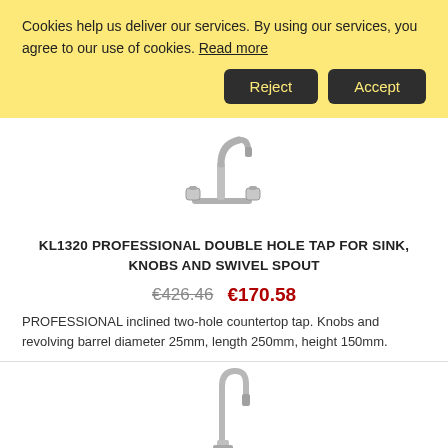Cookies help us deliver our services. By using our services, you agree to our use of cookies. Read more
Reject | Accept
[Figure (photo): Chrome double hole tap for sink with swivel spout and knobs]
KL1320 PROFESSIONAL DOUBLE HOLE TAP FOR SINK, KNOBS AND SWIVEL SPOUT
€426.46  €170.58
PROFESSIONAL inclined two-hole countertop tap. Knobs and revolving barrel diameter 25mm, length 250mm, height 150mm.
[Figure (photo): Chrome double hole shower group tap]
KL1320 PROFESSIONAL DOUBLE HOLE SHOWER GROUP